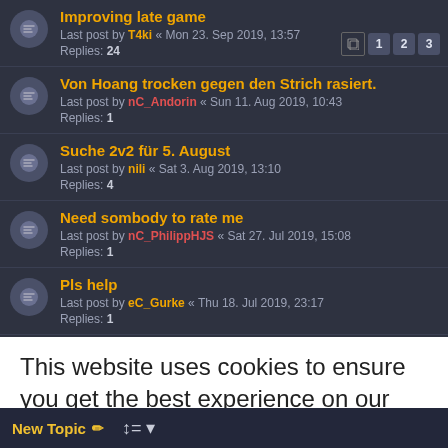Improving late game
Last post by T4ki « Mon 23. Sep 2019, 13:57
Replies: 24
Von Hoang trocken gegen den Strich rasiert.
Last post by nC_Andorin « Sun 11. Aug 2019, 10:43
Replies: 1
Suche 2v2 für 5. August
Last post by nili « Sat 3. Aug 2019, 13:10
Replies: 4
Need sombody to rate me
Last post by nC_PhilippHJS « Sat 27. Jul 2019, 15:08
Replies: 1
Pls help
Last post by eC_Gurke « Thu 18. Jul 2019, 23:17
Replies: 1
Bauer sucht Trainingspartner (Vermittlung)
Last post by ... « ... 2019, ...
Replies: ...
Pate gesucht
Last post by T4ki « Thu 27. Jun 2019, 13:55
Replies: ...
This website uses cookies to ensure you get the best experience on our website. Learn more
Got it!
New Topic